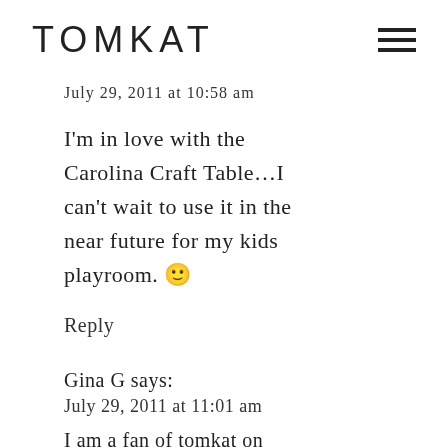TOMKAT
July 29, 2011 at 10:58 am
I'm in love with the Carolina Craft Table…I can't wait to use it in the near future for my kids playroom. 🙂
Reply
Gina G says:
July 29, 2011 at 11:01 am
I am a fan of tomkat on